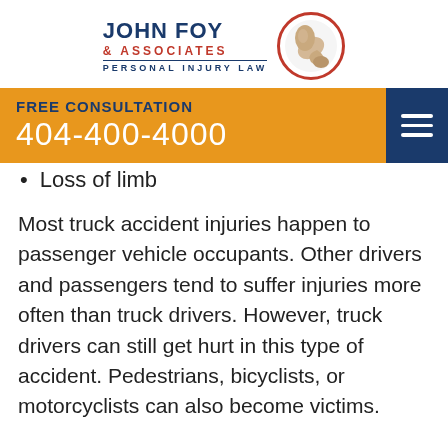[Figure (logo): John Foy & Associates Personal Injury Law logo with flexing arm in red circle]
[Figure (infographic): Orange banner with FREE CONSULTATION text and phone number 404-400-4000, blue menu icon on right]
Loss of limb
Most truck accident injuries happen to passenger vehicle occupants. Other drivers and passengers tend to suffer injuries more often than truck drivers. However, truck drivers can still get hurt in this type of accident. Pedestrians, bicyclists, or motorcyclists can also become victims.